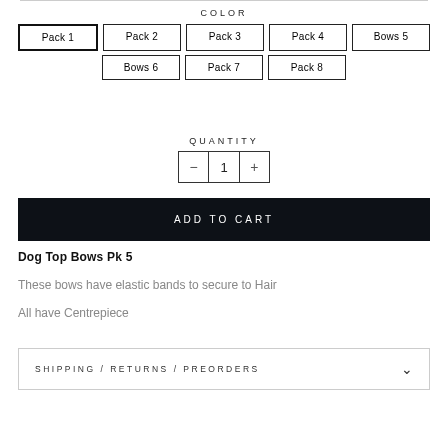COLOR
Pack 1, Pack 2, Pack 3, Pack 4, Bows 5, Bows 6, Pack 7, Pack 8
QUANTITY
1
ADD TO CART
Dog Top Bows Pk 5
These bows have elastic bands to secure to Hair
All have Centrepiece
SHIPPING/RETURNS/PREORDERS